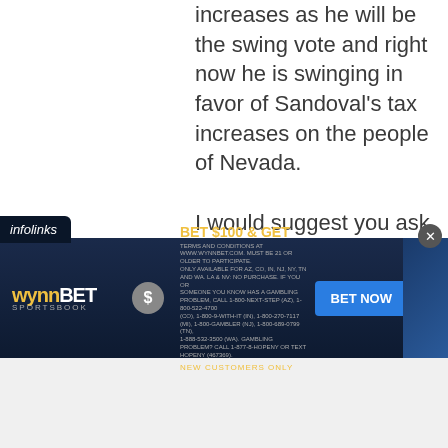His vote is critical to tax increases as he will be the swing vote and right now he is swinging in favor of Sandoval's tax increases on the people of Nevada.

I would suggest you ask him directly (if you can get through to him via email or phone) how he intends to vote and I will guarantee the answer will be he is not sure, he is studying it.
[Figure (other): WynnBET Sportsbook advertisement banner with 'BET $100 & GET' headline, fine print terms and conditions, and a 'BET NOW' blue button. Infolinks tab visible above the ad.]